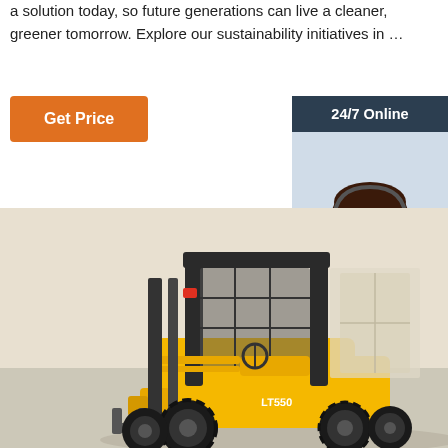a solution today, so future generations can live a cleaner, greener tomorrow. Explore our sustainability initiatives in ...
[Figure (other): Orange 'Get Price' button]
[Figure (other): 24/7 Online chat widget with customer service representative photo, 'Click here for free chat!' text, and orange QUOTATION button]
[Figure (photo): Yellow LT550 forklift truck in a warehouse setting]